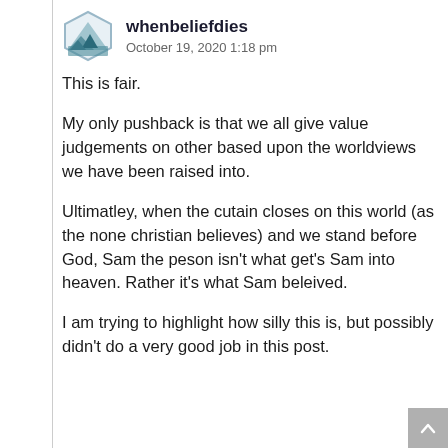whenbeliefdies — October 19, 2020 1:18 pm
This is fair.
My only pushback is that we all give value judgements on other based upon the worldviews we have been raised into.
Ultimatley, when the cutain closes on this world (as the none christian believes) and we stand before God, Sam the peson isn't what get's Sam into heaven. Rather it's what Sam beleived.
I am trying to highlight how silly this is, but possibly didn't do a very good job in this post.